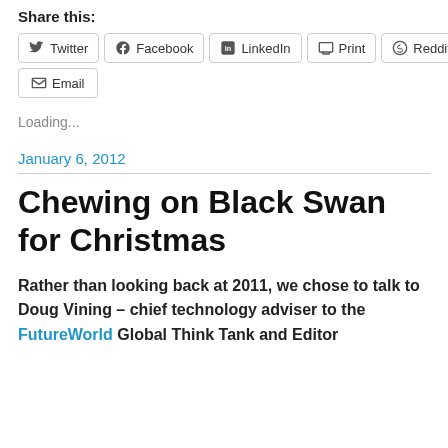Share this:
Twitter
Facebook
LinkedIn
Print
Reddit
Email
Loading...
January 6, 2012
Chewing on Black Swan for Christmas
Rather than looking back at 2011, we chose to talk to Doug Vining – chief technology adviser to the FutureWorld Global Think Tank and Editor